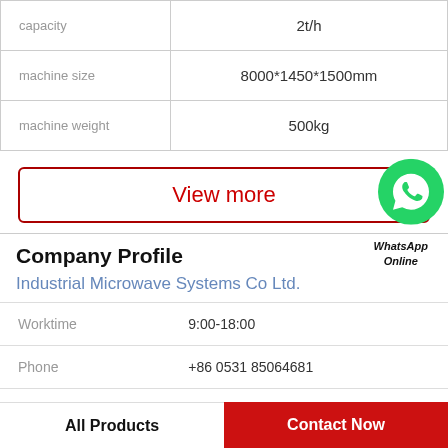|  |  |
| --- | --- |
| capacity | 2t/h |
| machine size | 8000*1450*1500mm |
| machine weight | 500kg |
View more
[Figure (logo): WhatsApp green phone icon with label WhatsApp Online]
Company Profile
Industrial Microwave Systems Co Ltd.
|  |  |
| --- | --- |
| Worktime | 9:00-18:00 |
| Phone | +86 0531 85064681 |
All Products
Contact Now